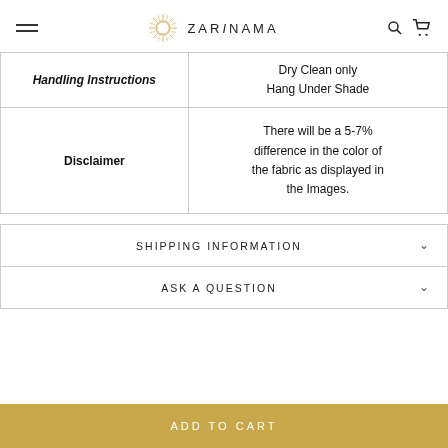ZARINAMA
| Handling Instructions |  |
| --- | --- |
| Handling Instructions | Dry Clean only
Hang Under Shade |
| Disclaimer | There will be a 5-7% difference in the color of the fabric as displayed in the Images. |
SHIPPING INFORMATION
ASK A QUESTION
ADD TO CART